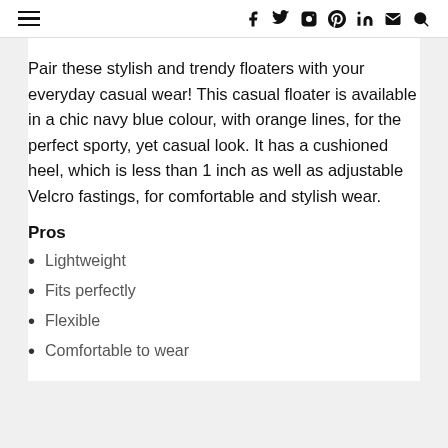≡  [social icons: Facebook, Twitter, Instagram, Pinterest, LinkedIn, Mail, Search]
Pair these stylish and trendy floaters with your everyday casual wear! This casual floater is available in a chic navy blue colour, with orange lines, for the perfect sporty, yet casual look. It has a cushioned heel, which is less than 1 inch as well as adjustable Velcro fastings, for comfortable and stylish wear.
Pros
Lightweight
Fits perfectly
Flexible
Comfortable to wear